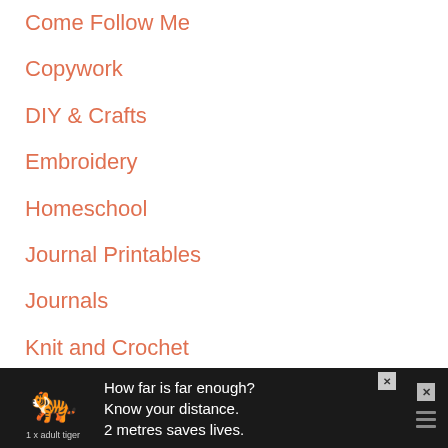Come Follow Me
Copywork
DIY & Crafts
Embroidery
Homeschool
Journal Printables
Journals
Knit and Crochet
Latter-Day Saint
Other
Primary Music Flipcharts
Printables
[Figure (infographic): Advertisement banner: dark background with white tiger silhouette and text 'How far is far enough? Know your distance. 2 metres saves lives.' with a close button and menu icon.]